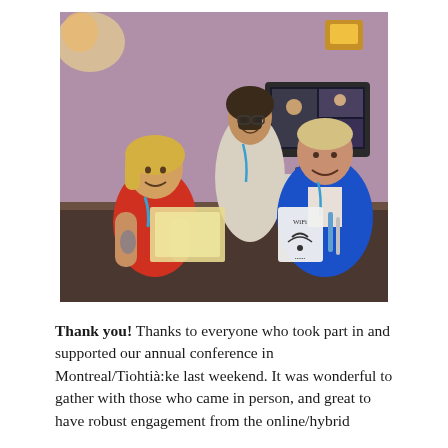[Figure (photo): Three people at a conference registration desk. A woman in a red sleeveless top with tattoos sits at the front-left, a woman in a white top stands behind, and a man in a blue suit sits at the right. A computer monitor showing a video call is visible in the background. A WiFi sign and pens are on the desk. The room has a purple/mauve wall.]
Thank you! Thanks to everyone who took part in and supported our annual conference in Montreal/Tiohtià:ke last weekend. It was wonderful to gather with those who came in person, and great to have robust engagement from the online/hybrid